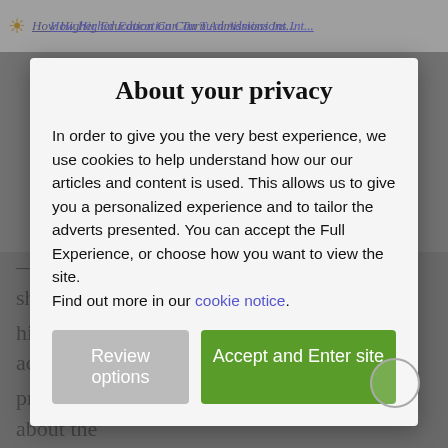How Higher Education Can Turn Admissions Int...
About your privacy
In order to give you the very best experience, we use cookies to help understand how our our articles and content is used. This allows us to give you a personalized experience and to tailor the adverts presented. You can accept the Full Experience, or choose how you want to view the site.
Find out more in our cookie notice.
Review options
Accept and Enter site
— a disruption in student enrollment. The shrinking high school graduate population, lack of academically prepared prospects, and increased skepticism about the value of a college education had created a formidable